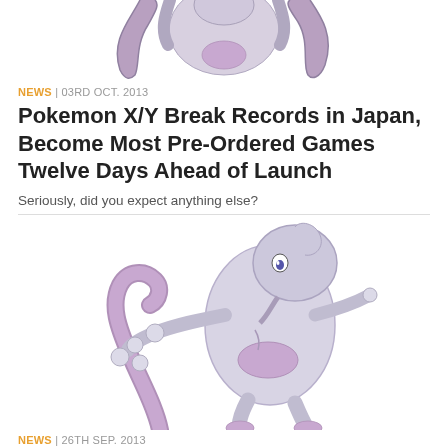[Figure (illustration): Top portion of Mewtwo Pokemon illustration, cropped showing upper body and tail, purple/grey colors on white background]
NEWS | 03RD OCT. 2013
Pokemon X/Y Break Records in Japan, Become Most Pre-Ordered Games Twelve Days Ahead of Launch
Seriously, did you expect anything else?
[Figure (illustration): Full Mewtwo Pokemon illustration showing the character in a battle stance with one arm extended, grey and purple coloring on white background]
NEWS | 26TH SEP. 2013
Pokemon Director Teases Pokemon Wii U Game